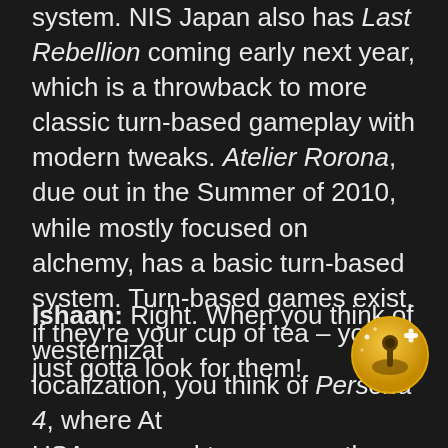system. NIS Japan also has Last Rebellion coming early next year, which is a throwback to more classic turn-based gameplay with modern tweaks. Atelier Rorona, due out in the Summer of 2010, while mostly focused on alchemy, has a basic turn-based system. Turn-based games exist, if they're your cup of tea – you've just gotta look for them!
Ishaan: Right. When you think of westernization/localization, you think of Persona 4, where Atlus USA managed to preserve the personalities of the cast while making them relatable to western audiences. I think that's as far as one needs to go about...
[Figure (illustration): A circular gold/yellow badge icon with a game controller joystick symbol and a plus sign, suggesting a gaming achievement or award badge.]